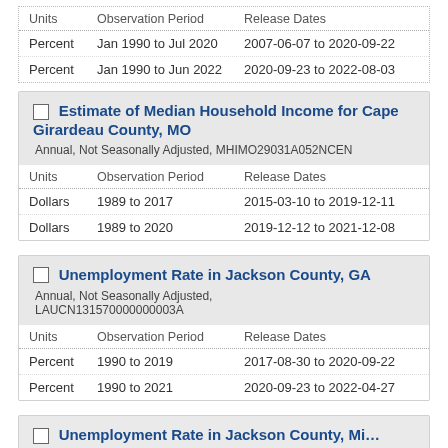| Units | Observation Period | Release Dates |
| --- | --- | --- |
| Percent | Jan 1990 to Jul 2020 | 2007-06-07 to 2020-09-22 |
| Percent | Jan 1990 to Jun 2022 | 2020-09-23 to 2022-08-03 |
Estimate of Median Household Income for Cape Girardeau County, MO
Annual, Not Seasonally Adjusted, MHIMO29031A052NCEN
| Units | Observation Period | Release Dates |
| --- | --- | --- |
| Dollars | 1989 to 2017 | 2015-03-10 to 2019-12-11 |
| Dollars | 1989 to 2020 | 2019-12-12 to 2021-12-08 |
Unemployment Rate in Jackson County, GA
Annual, Not Seasonally Adjusted, LAUCN131570000000003A
| Units | Observation Period | Release Dates |
| --- | --- | --- |
| Percent | 1990 to 2019 | 2017-08-30 to 2020-09-22 |
| Percent | 1990 to 2021 | 2020-09-23 to 2022-04-27 |
Unemployment Rate in Jackson County, Mi...